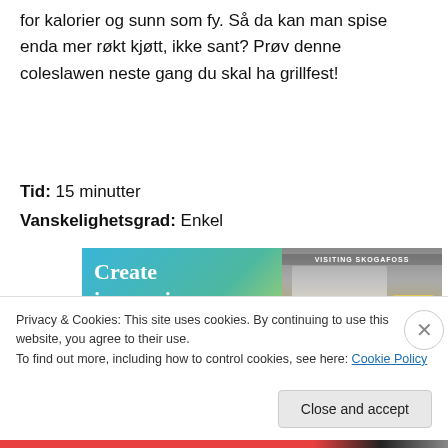for kalorier og sunn som fy. Så da kan man spise enda mer røkt kjøtt, ikke sant? Prøv denne coleslawen neste gang du skal ha grillfest!
Tid: 15 minutter
Vanskelighetsgrad: Enkel
[Figure (screenshot): Advertisement banner reading 'Create immersive stories.' with a photo of a person near a waterfall labeled 'VISITING SKOGAFOSS']
Privacy & Cookies: This site uses cookies. By continuing to use this website, you agree to their use.
To find out more, including how to control cookies, see here: Cookie Policy
Close and accept